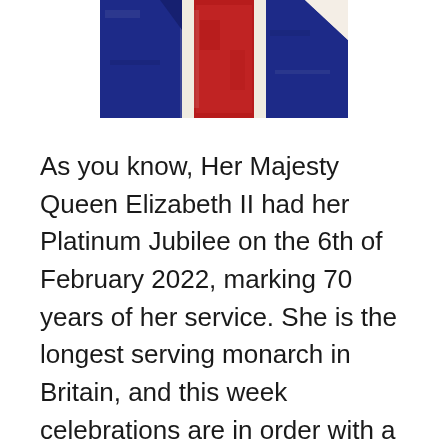[Figure (photo): Partial view of a Union Jack (UK flag) showing red, white, and blue sections with a distressed/vintage texture.]
As you know, Her Majesty Queen Elizabeth II had her Platinum Jubilee on the 6th of February 2022, marking 70 years of her service. She is the longest serving monarch in Britain, and this week celebrations are in order with a long weekend between the 2nd of June and the 5th of June.
During these 70 years, the Queen has travelled to